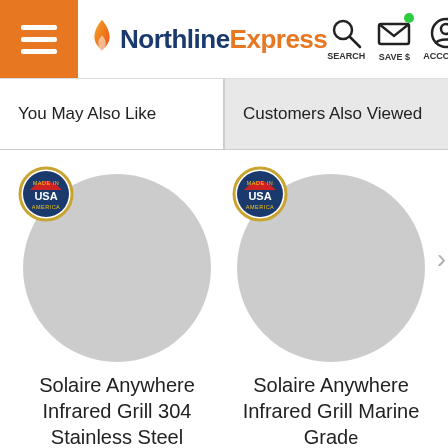Northline Express — SEARCH SAVE $ ACCOUNT
You May Also Like
Customers Also Viewed
[Figure (photo): Product circle image with Made in USA badge — Solaire Anywhere Infrared Grill 304 Stainless Steel]
[Figure (photo): Product circle image with Made in USA badge — Solaire Anywhere Infrared Grill Marine Grade]
Solaire Anywhere Infrared Grill 304 Stainless Steel
Solaire Anywhere Infrared Grill Marine Grade